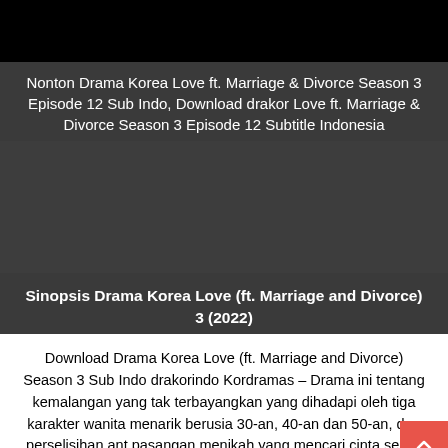[Figure (photo): Black rectangle representing a video/image thumbnail at the top of the page]
Nonton Drama Korea Love ft. Marriage & Divorce Season 3 Episode 12 Sub Indo, Download drakor Love ft. Marriage & Divorce Season 3 Episode 12 Subtitle Indonesia
[Figure (photo): Dark gray area representing a video player or image content area]
Sinopsis Drama Korea Love (ft. Marriage and Divorce) 3 (2022)
Download Drama Korea Love (ft. Marriage and Divorce) Season 3 Sub Indo drakorindo Kordramas – Drama ini tentang kemalangan yang tak terbayangkan yang dihadapi oleh tiga karakter wanita menarik berusia 30-an, 40-an dan 50-an, dan perselisihan ant pasangan menikah yang mencari cinta sejati.